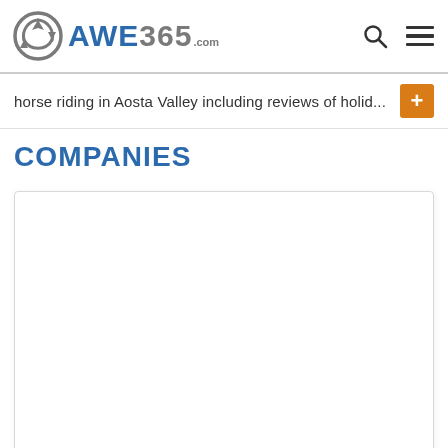AWE365.com
horse riding in Aosta Valley including reviews of holid...
COMPANIES
[Figure (other): Empty white content card/box area below Companies heading]